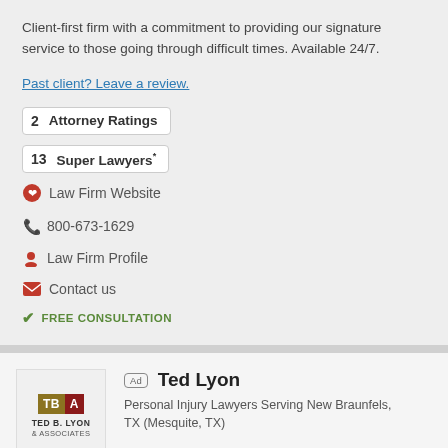Client-first firm with a commitment to providing our signature service to those going through difficult times. Available 24/7.
Past client? Leave a review.
2   Attorney Ratings
13  Super Lawyers®
Law Firm Website
800-673-1629
Law Firm Profile
Contact us
FREE CONSULTATION
Ad  Ted Lyon
Personal Injury Lawyers Serving New Braunfels, TX (Mesquite, TX)